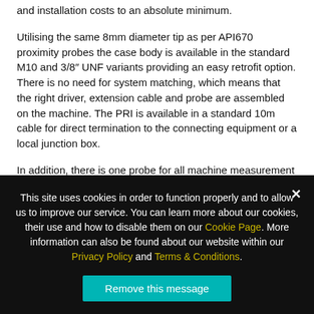and installation costs to an absolute minimum.
Utilising the same 8mm diameter tip as per API670 proximity probes the case body is available in the standard M10 and 3/8″ UNF variants providing an easy retrofit option. There is no need for system matching, which means that the right driver, extension cable and probe are assembled on the machine. The PRI is available in a standard 10m cable for direct termination to the connecting equipment or a local junction box.
In addition, there is one probe for all machine measurement points so there is no requirement to stock variants of extension cables and drivers. The PRI probe is ideal for OEM applications as it offers a
This site uses cookies in order to function properly and to allow us to improve our service. You can learn more about our cookies, their use and how to disable them on our Cookie Page. More information can also be found about our website within our Privacy Policy and Terms & Conditions.
Remove this message